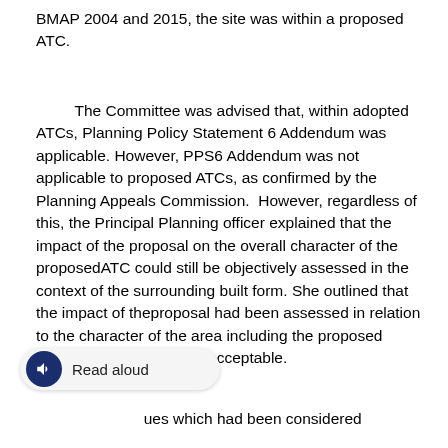BMAP 2004 and 2015, the site was within a proposed ATC.
The Committee was advised that, within adopted ATCs, Planning Policy Statement 6 Addendum was applicable. However, PPS6 Addendum was not applicable to proposed ATCs, as confirmed by the Planning Appeals Commission. However, regardless of this, the Principal Planning officer explained that the impact of the proposal on the overall character of the proposedATC could still be objectively assessed in the context of the surrounding built form. She outlined that the impact of theproposal had been assessed in relation to the character of the area including the proposed ATCand was considered acceptable.
ues which had been considered